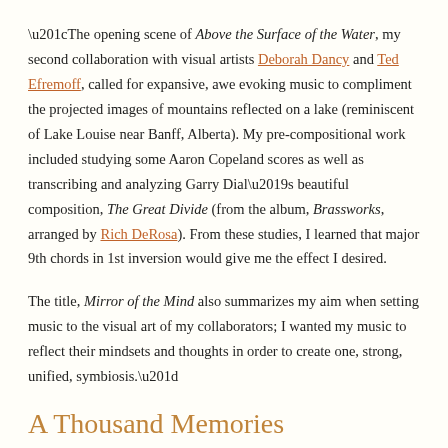“The opening scene of Above the Surface of the Water, my second collaboration with visual artists Deborah Dancy and Ted Efremoff, called for expansive, awe evoking music to compliment the projected images of mountains reflected on a lake (reminiscent of Lake Louise near Banff, Alberta).  My pre-compositional work included studying some Aaron Copeland scores as well as transcribing and analyzing Garry Dial’s beautiful composition, The Great Divide (from the album, Brassworks, arranged by Rich DeRosa).  From these studies, I learned that major 9th chords in 1st inversion would give me the effect I desired.
The title, Mirror of the Mind also summarizes my aim when setting music to the visual art of my collaborators; I wanted my music to reflect their mindsets and thoughts in order to create one, strong, unified, symbiosis.”
A Thousand Memories